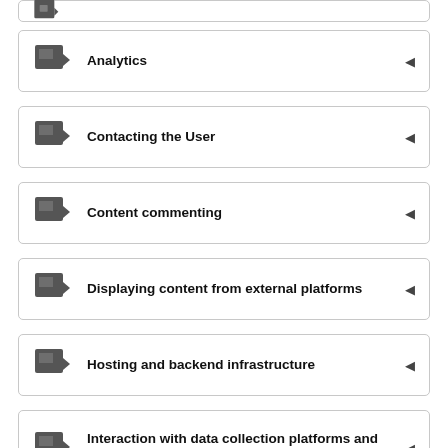Analytics
Contacting the User
Content commenting
Displaying content from external platforms
Hosting and backend infrastructure
Interaction with data collection platforms and other third parties
Managing contacts and sending messages